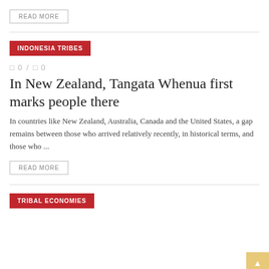READ MORE
INDONESIA TRIBES
□ 0 / □ 0
In New Zealand, Tangata Whenua first marks people there
In countries like New Zealand, Australia, Canada and the United States, a gap remains between those who arrived relatively recently, in historical terms, and those who ...
READ MORE
TRIBAL ECONOMIES